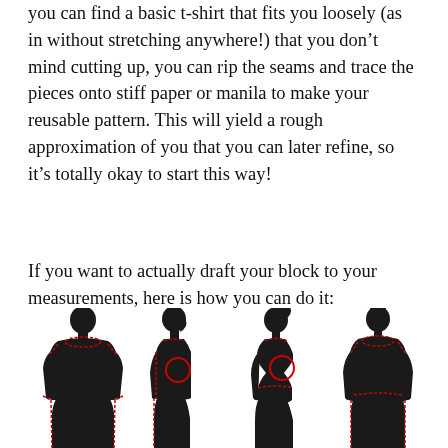you can find a basic t-shirt that fits you loosely (as in without stretching anywhere!) that you don't mind cutting up, you can rip the seams and trace the pieces onto stiff paper or manila to make your reusable pattern. This will yield a rough approximation of you that you can later refine, so it's totally okay to start this way!
If you want to actually draft your block to your measurements, here is how you can do it:
[Figure (illustration): Four black silhouettes of human figures (two male, two female) shown from front and side views, with red dashed lines and red circles indicating measurement points on the body for drafting a sewing block pattern.]